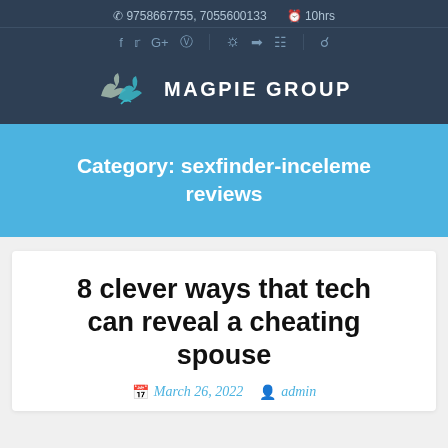9758667755, 7055600133   10hrs
[Figure (logo): Magpie Group logo with decorative bird illustration and text MAGPIE GROUP]
Category: sexfinder-inceleme reviews
8 clever ways that tech can reveal a cheating spouse
March 26, 2022   admin